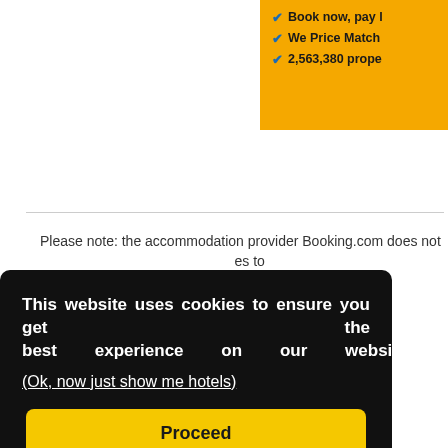[Figure (screenshot): Yellow booking panel (partially visible, cropped at right edge) with three checkmark bullet points: 'Book now, pay l[ater]', 'We Price Match', '2,563,380 prope[rties]']
Please note: the accommodation provider Booking.com does not [text continues]...es to
This website uses cookies to ensure you get the best experience on our website.
(Ok, now just show me hotels)
Proceed